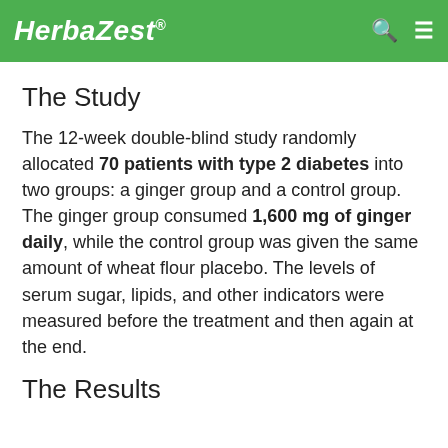HerbaZest.
The Study
The 12-week double-blind study randomly allocated 70 patients with type 2 diabetes into two groups: a ginger group and a control group. The ginger group consumed 1,600 mg of ginger daily, while the control group was given the same amount of wheat flour placebo. The levels of serum sugar, lipids, and other indicators were measured before the treatment and then again at the end.
The Results